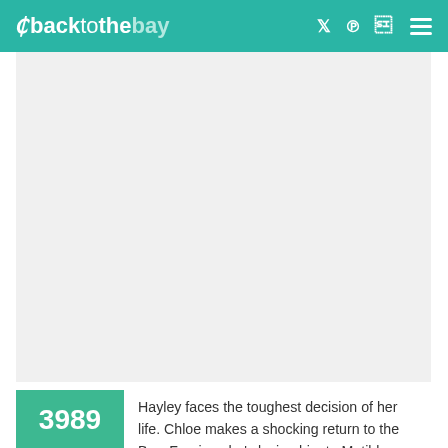backtothebay
[Figure (photo): Large image placeholder area, light gray background, no image content visible]
3989
Hayley faces the toughest decision of her life. Chloe makes a shocking return to the Bay. Fearing she's losing him to Matilda, Cassie